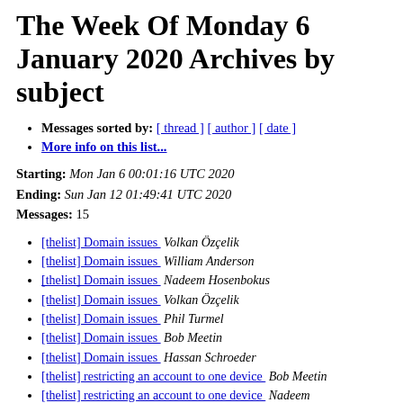The Week Of Monday 6 January 2020 Archives by subject
Messages sorted by: [ thread ] [ author ] [ date ]
More info on this list...
Starting: Mon Jan 6 00:01:16 UTC 2020
Ending: Sun Jan 12 01:49:41 UTC 2020
Messages: 15
[thelist] Domain issues  Volkan Özçelik
[thelist] Domain issues  William Anderson
[thelist] Domain issues  Nadeem Hosenbokus
[thelist] Domain issues  Volkan Özçelik
[thelist] Domain issues  Phil Turmel
[thelist] Domain issues  Bob Meetin
[thelist] Domain issues  Hassan Schroeder
[thelist] restricting an account to one device  Bob Meetin
[thelist] restricting an account to one device  Nadeem Hosenbokus
[thelist] restricting an account to one device  Ken Schaefer